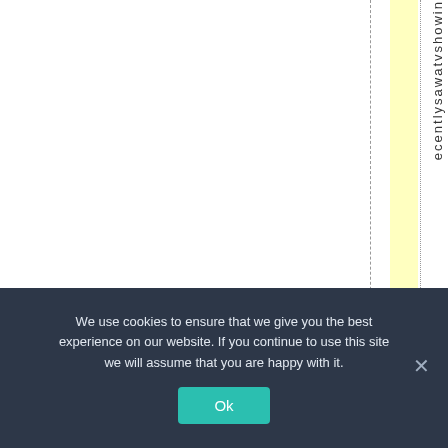[Figure (other): Document page fragment showing a yellow highlighted column with a dashed vertical line to the left and a dotted vertical line to the right, with vertically-oriented text reading 'e c e n t l y s a w a t v s h o w i' running down the right side]
We use cookies to ensure that we give you the best experience on our website. If you continue to use this site we will assume that you are happy with it.